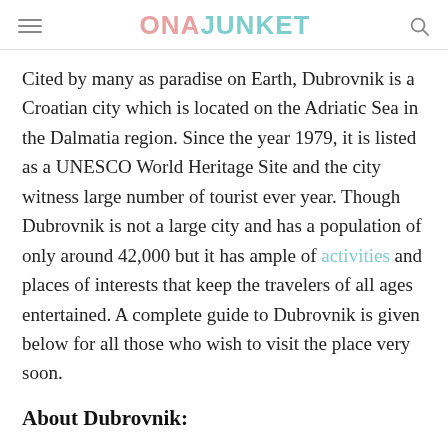ONAJUNKET
Cited by many as paradise on Earth, Dubrovnik is a Croatian city which is located on the Adriatic Sea in the Dalmatia region. Since the year 1979, it is listed as a UNESCO World Heritage Site and the city witness large number of tourist ever year. Though Dubrovnik is not a large city and has a population of only around 42,000 but it has ample of activities and places of interests that keep the travelers of all ages entertained. A complete guide to Dubrovnik is given below for all those who wish to visit the place very soon.
About Dubrovnik: